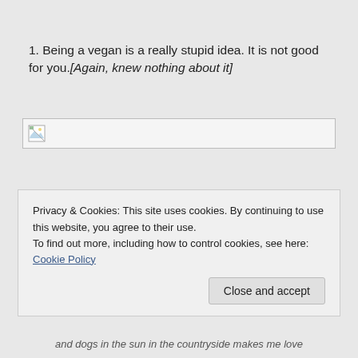1. Being a vegan is a really stupid idea. It is not good for you.[Again, knew nothing about it]
[Figure (other): Broken image placeholder with small icon in top-left corner]
Privacy & Cookies: This site uses cookies. By continuing to use this website, you agree to their use.
To find out more, including how to control cookies, see here: Cookie Policy
Close and accept
and dogs in the sun in the countryside makes me love